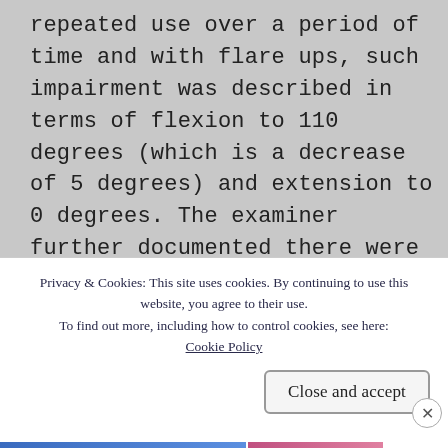repeated use over a period of time and with flare ups, such impairment was described in terms of flexion to 110 degrees (which is a decrease of 5 degrees) and extension to 0 degrees. The examiner further documented there were no clinical findings of right knee crepitus, pain with weight bearing, muscle atrophy, ankylosis, subluxation, instability, recurrent effusion, or abnormalities of the
Privacy & Cookies: This site uses cookies. By continuing to use this website, you agree to their use. To find out more, including how to control cookies, see here: Cookie Policy
Close and accept